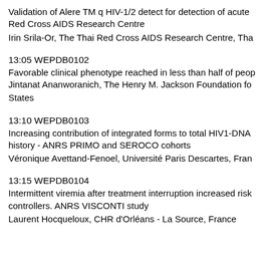Validation of Alere TM q HIV-1/2 detect for detection of acute Red Cross AIDS Research Centre
Irin Srila-Or, The Thai Red Cross AIDS Research Centre, Tha
13:05 WEPDB0102
Favorable clinical phenotype reached in less than half of peop
Jintanat Ananworanich, The Henry M. Jackson Foundation fo States
13:10 WEPDB0103
Increasing contribution of integrated forms to total HIV1-DNA history - ANRS PRIMO and SEROCO cohorts
Véronique Avettand-Fenoel, Université Paris Descartes, Fran
13:15 WEPDB0104
Intermittent viremia after treatment interruption increased risk controllers. ANRS VISCONTI study
Laurent Hocqueloux, CHR d'Orléans - La Source, France